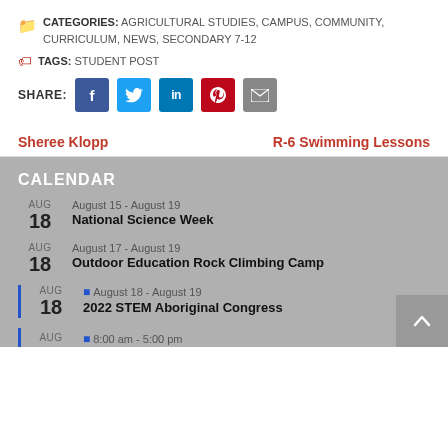CATEGORIES: AGRICULTURAL STUDIES, CAMPUS, COMMUNITY, CURRICULUM, NEWS, SECONDARY 7-12
TAGS: STUDENT POST
SHARE:
Sheree Klopp
R-6 Swimming Lessons
CALENDAR
AUG 18 — August 15 - August 19 — National Science Week
AUG 18 — August 17 - August 19 — Outdoor Education Rock Climbing Camp
AUG 18 — August 18 - August 19 — 2022 STEM Aboriginal Congress
AUG — 8:00 am - 5:00 pm